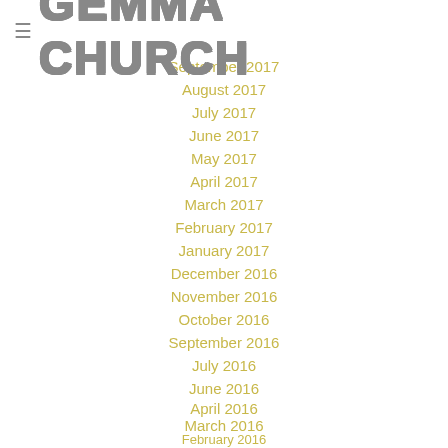GEMMA CHURCH
September 2017
August 2017
July 2017
June 2017
May 2017
April 2017
March 2017
February 2017
January 2017
December 2016
November 2016
October 2016
September 2016
July 2016
June 2016
April 2016
March 2016
February 2016
January 2016